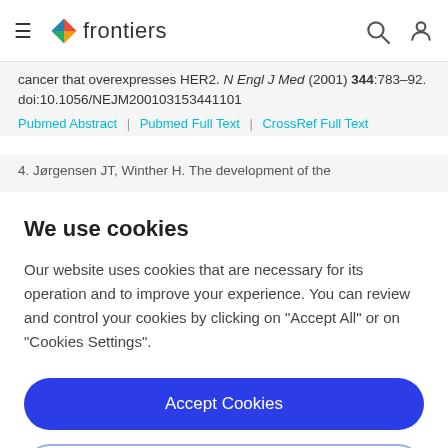frontiers
cancer that overexpresses HER2. N Engl J Med (2001) 344:783–92. doi:10.1056/NEJM200103153441101
Pubmed Abstract | Pubmed Full Text | CrossRef Full Text
4. Jørgensen JT, Winther H. The development of the
We use cookies
Our website uses cookies that are necessary for its operation and to improve your experience. You can review and control your cookies by clicking on "Accept All" or on "Cookies Settings".
Accept Cookies
Cookies Settings